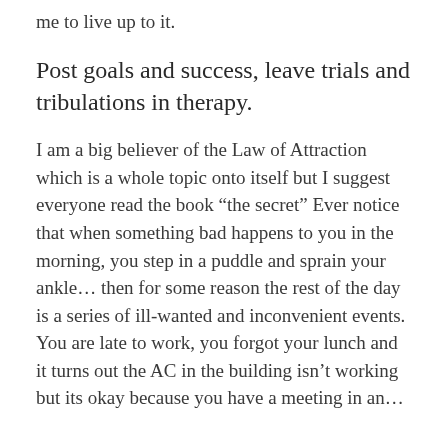me to live up to it.
Post goals and success, leave trials and tribulations in therapy.
I am a big believer of the Law of Attraction which is a whole topic onto itself but I suggest everyone read the book “the secret” Ever notice that when something bad happens to you in the morning, you step in a puddle and sprain your ankle… then for some reason the rest of the day is a series of ill-wanted and inconvenient events. You are late to work, you forgot your lunch and it turns out the AC in the building isn’t working but its okay because you have a meeting in an…